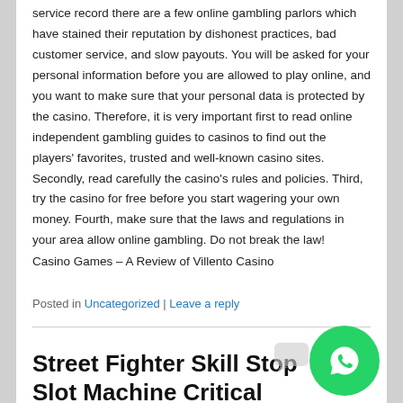service record there are a few online gambling parlors which have stained their reputation by dishonest practices, bad customer service, and slow payouts. You will be asked for your personal information before you are allowed to play online, and you want to make sure that your personal data is protected by the casino. Therefore, it is very important first to read online independent gambling guides to casinos to find out the players' favorites, trusted and well-known casino sites. Secondly, read carefully the casino's rules and policies. Third, try the casino for free before you start wagering your own money. Fourth, make sure that the laws and regulations in your area allow online gambling. Do not break the law!
Casino Games – A Review of Villento Casino
Posted in Uncategorized | Leave a reply
Street Fighter Skill Stop Slot Machine Critical